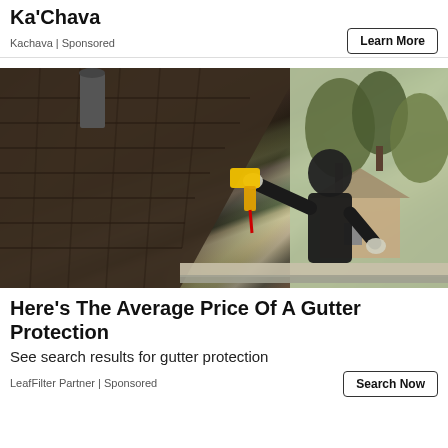Ka'Chava
Kachava | Sponsored
[Figure (photo): Worker on a roof installing or cleaning gutters, holding a drill, wearing a black hoodie and gloves, with trees and a house in the background]
Here's The Average Price Of A Gutter Protection
See search results for gutter protection
LeafFilter Partner | Sponsored